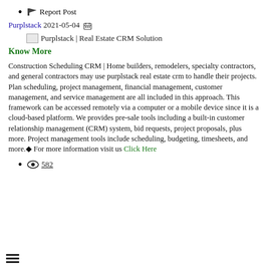Report Post
Purplstack 2021-05-04
[Figure (logo): Purplstack logo image followed by text: Purplstack | Real Estate CRM Solution]
Know More
Construction Scheduling CRM | Home builders, remodelers, specialty contractors, and general contractors may use purplstack real estate crm to handle their projects. Plan scheduling, project management, financial management, customer management, and service management are all included in this approach. This framework can be accessed remotely via a computer or a mobile device since it is a cloud-based platform. We provides pre-sale tools including a built-in customer relationship management (CRM) system, bid requests, project proposals, plus more. Project management tools include scheduling, budgeting, timesheets, and more.◆ For more information visit us Click Here
582